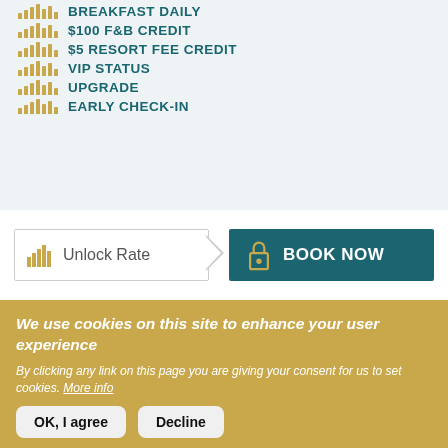BREAKFAST DAILY
$100 F&B CREDIT
$5 RESORT FEE CREDIT
VIP STATUS
UPGRADE
EARLY CHECK-IN
[Figure (infographic): Unlock Rate button with arrow and Book Now button with lock icon]
We use cookies on this site to enhance your user experience
By clicking any link on this page you are giving your consent for us to set cookies. More info
OK, I agree | Decline